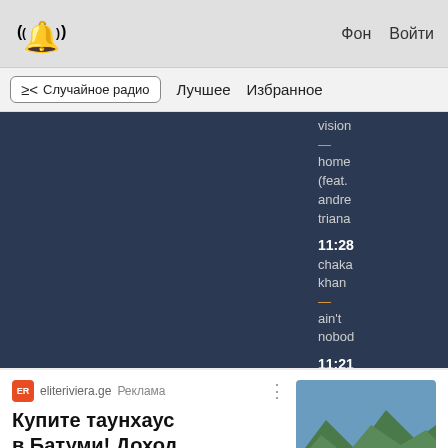((🔔)) Фон Войти
≥< Случайное радио   Лучшее   Избранное
[Figure (screenshot): Radio app player with dark blue panel showing track list including 'vision — home (feat. andrea triana)', '11:28 chaka khan — ain't nobody', '11:21']
eliteriviera.ge Реклама
Купите таунхаус в Батуми! Доход от 13 000 €/г!ВНЖ Б...
[Figure (photo): Advertisement photo of a townhouse building in Batumi with mountains in background]